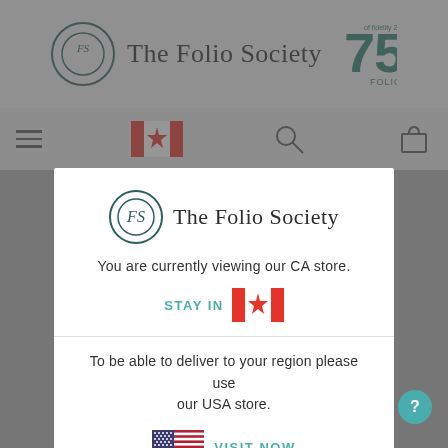[Figure (screenshot): The Folio Society website header with logo and 75th anniversary badge, navigation bar with hamburger menu, Canadian flag, search icon, bag icon]
[Figure (screenshot): Modal dialog popup on The Folio Society website]
The Folio Society
You are currently viewing our CA store.
STAY IN
To be able to deliver to your region please use our USA store.
VISIT NOW
ACCEPT ALL